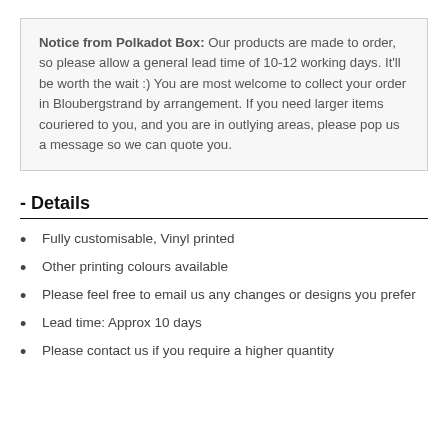Notice from Polkadot Box: Our products are made to order, so please allow a general lead time of 10-12 working days. It'll be worth the wait :) You are most welcome to collect your order in Bloubergstrand by arrangement. If you need larger items couriered to you, and you are in outlying areas, please pop us a message so we can quote you.
- Details
Fully customisable, Vinyl printed
Other printing colours available
Please feel free to email us any changes or designs you prefer
Lead time: Approx 10 days
Please contact us if you require a higher quantity